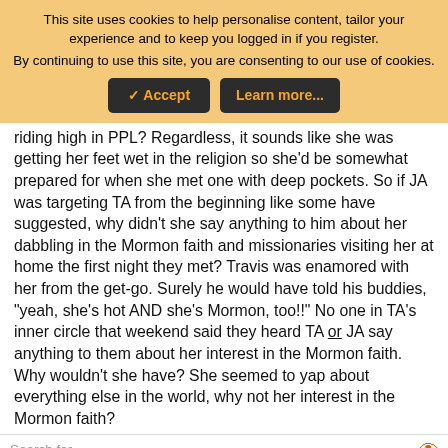This site uses cookies to help personalise content, tailor your experience and to keep you logged in if you register.
By continuing to use this site, you are consenting to our use of cookies.
✓ Accept | Learn more...
riding high in PPL? Regardless, it sounds like she was getting her feet wet in the religion so she'd be somewhat prepared for when she met one with deep pockets. So if JA was targeting TA from the beginning like some have suggested, why didn't she say anything to him about her dabbling in the Mormon faith and missionaries visiting her at home the first night they met? Travis was enamored with her from the get-go. Surely he would have told his buddies, "yeah, she's hot AND she's Mormon, too!!" No one in TA's inner circle that weekend said they heard TA or JA say anything to them about her interest in the Mormon faith. Why wouldn't she have? She seemed to yap about everything else in the world, why not her interest in the Mormon faith?
Search for
1. Most Nutritious Dogie Foods
2. Get Gutter Guard Installations
Yahoo! Search | Sponsored